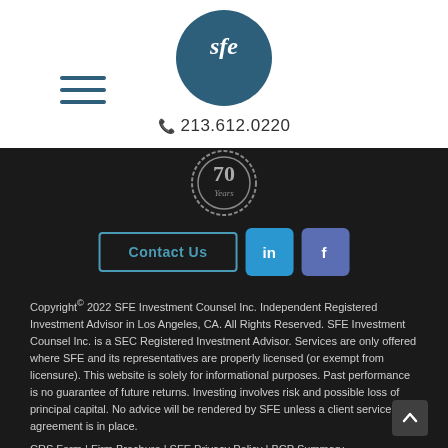[Figure (logo): SFE circular logo with white 'sfe' text on dark teal/blue background]
📞 213.612.0220
[Figure (illustration): 70 Years badge/seal graphic with decorative border on dark background]
[Figure (other): Contact Us button, LinkedIn button, Facebook button row]
Copyright© 2022 SFE Investment Counsel Inc. Independent Registered Investment Advisor in Los Angeles, CA. All Rights Reserved. SFE Investment Counsel Inc. is a SEC Registered Investment Advisor. Services are only offered where SFE and its representatives are properly licensed (or exempt from licensure). This website is solely for informational purposes. Past performance is no guarantee of future returns. Investing involves risk and possible loss of principal capital. No advice will be rendered by SFE unless a client service agreement is in place.
CRS Form | Firm Brochure | SFE Privacy Policy | BCP Summary
We take protecting your data and privacy very seriously. As of January 1, 2020 the California Consumer Privacy Act (CCPA) suggests the following link as an extra measure to safeguard your data: Do not sell my personal information.
Copyright 2022 FMG Suite.